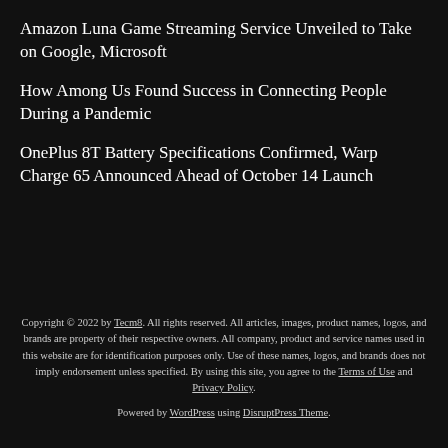Amazon Luna Game Streaming Service Unveiled to Take on Google, Microsoft
How Among Us Found Success in Connecting People During a Pandemic
OnePlus 8T Battery Specifications Confirmed, Warp Charge 65 Announced Ahead of October 14 Launch
Copyright © 2022 by Tecm8. All rights reserved. All articles, images, product names, logos, and brands are property of their respective owners. All company, product and service names used in this website are for identification purposes only. Use of these names, logos, and brands does not imply endorsement unless specified. By using this site, you agree to the Terms of Use and Privacy Policy.
Powered by WordPress using DisruptPress Theme.